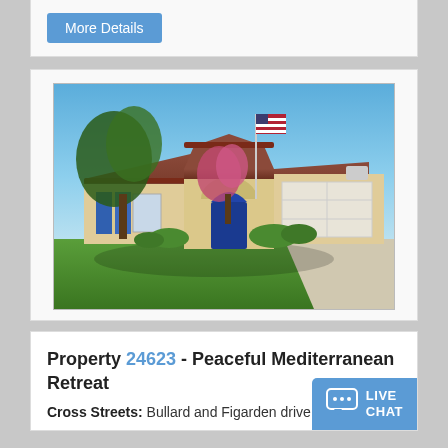More Details
[Figure (photo): Exterior photo of a Mediterranean-style single-story home with beige stucco walls, red tile roof, blue shutters, blue front door, arched entryway, American flag on a pole, white garage door, flowering trees, and well-maintained green lawn.]
Property 24623 - Peaceful Mediterranean Retreat
Cross Streets: Bullard and Figarden drive